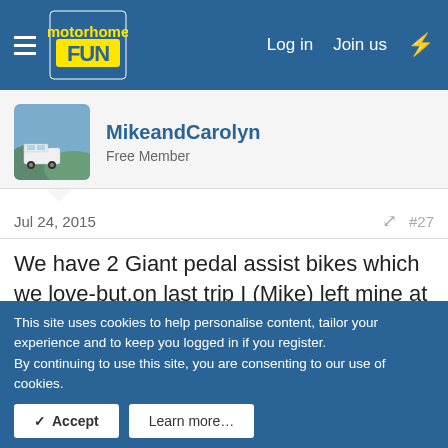MotorhomeFun — Log in | Join us
MikeandCarolyn
Free Member
Jul 24, 2015  #27
We have 2 Giant pedal assist bikes which we love-but,on last trip I (Mike) left mine at home and took a No-Logo urban fixie in black and gold with deep section rims 👍 Not only was I able to do any hills Carolyn could do on her Giant,but the bike was centre of attention with loads of French guys 🙂
This site uses cookies to help personalise content, tailor your experience and to keep you logged in if you register.
By continuing to use this site, you are consenting to our use of cookies.